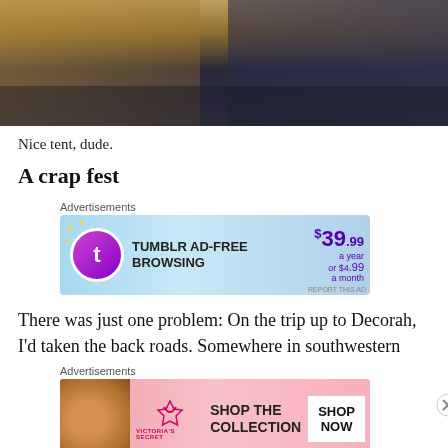[Figure (photo): Photo of a person lying on a bed, wearing dark shorts, viewed from behind.]
Nice tent, dude.
A crap fest
[Figure (other): Tumblr Ad-Free Browsing advertisement banner. $39.99 a year or $4.99 a month.]
There was just one problem: On the trip up to Decorah, I'd taken the back roads. Somewhere in southwestern
[Figure (other): Victoria's Secret advertisement banner. Shop The Collection. Shop Now.]